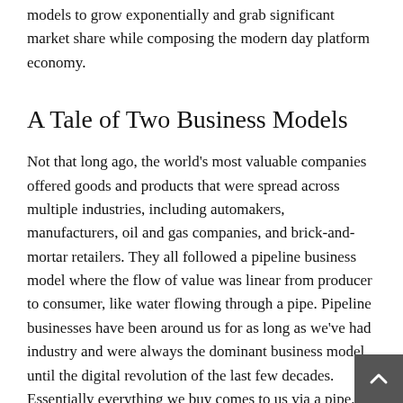models to grow exponentially and grab significant market share while composing the modern day platform economy.
A Tale of Two Business Models
Not that long ago, the world's most valuable companies offered goods and products that were spread across multiple industries, including automakers, manufacturers, oil and gas companies, and brick-and-mortar retailers. They all followed a pipeline business model where the flow of value was linear from producer to consumer, like water flowing through a pipe. Pipeline businesses have been around us for as long as we've had industry and were always the dominant business model until the digital revolution of the last few decades. Essentially everything we buy comes to us via a pipe.